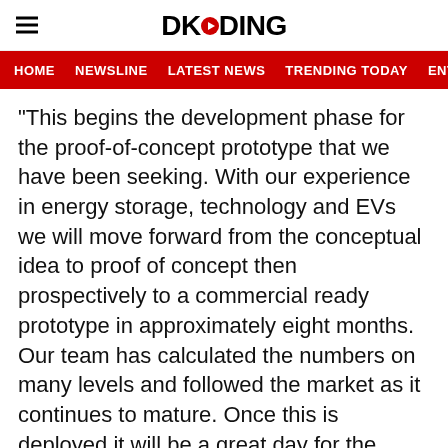DKODING
HOME   NEWSLINE   LATEST NEWS   TRENDING TODAY   ENT
“This begins the development phase for the proof-of-concept prototype that we have been seeking. With our experience in energy storage, technology and EVs we will move forward from the conceptual idea to proof of concept then prospectively to a commercial ready prototype in approximately eight months. Our team has calculated the numbers on many levels and followed the market as it continues to mature. Once this is deployed it will be a great day for the industry and of course for OZOP”, said Brian Conway CEO of Ozop Energy Solutions, Inc.” “Hyde shares our vision and the outside-the-